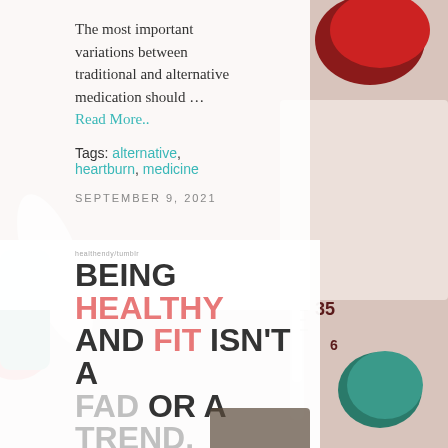The most important variations between traditional and alternative medication should … Read More..
Tags: alternative, heartburn, medicine
SEPTEMBER 9, 2021
[Figure (infographic): Health motivational infographic with text: BEING HEALTHY AND FIT ISN'T A FAD OR A TREND. INSTEAD, IT'S A lifestyle. with a heart drawing. Pink and dark gray bold typography on white background.]
[Figure (photo): Background photo of medical items: colorful capsule pills (red, dark, green), a glass thermometer showing 35-36 degrees, on a light pink/white surface.]